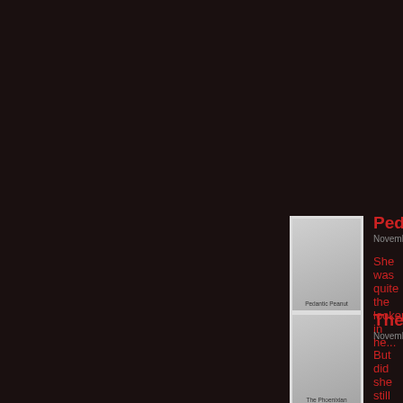[Figure (other): User avatar polaroid for Formosus Father of]
Formosus, Fa...
November 17, 201...
It has been impli... the demiurges th... with a Key of Kir...
[Figure (other): User avatar polaroid for Pedantic Peanut]
Pedantic Peanut
November 16, 2016, 7:08 am | #
She was quite the looker in he...
[Figure (other): User avatar polaroid for The Phoenixian]
The Phoenixian
November 16, 2016, 7:16 am | #
But did she still write terrible f...
[Figure (other): User avatar polaroid for 578 Sex Machine Fi...]
578 Sex Mach...
November 16, 201...
Darker, bloodier...
[Figure (other): User avatar polaroid for Crazy Ulurhad No]
Crazy Ulur...
November 17,...
The lie YISU... enough in it a...
Practitioners...